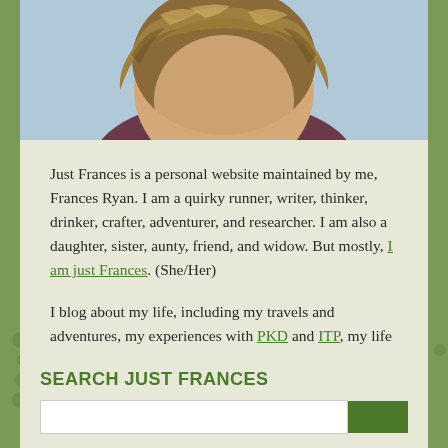[Figure (photo): Cropped photo showing the top of a person's head with wavy blonde/brown hair, partial view of face and dark clothing, light blue background]
Just Frances is a personal website maintained by me, Frances Ryan. I am a quirky runner, writer, thinker, drinker, crafter, adventurer, and researcher. I am also a daughter, sister, aunty, friend, and widow. But mostly, I am just Frances. (She/Her)
I blog about my life, including my travels and adventures, my experiences with PKD and ITP, my life as a young(ish) widow, and my life in general, really. Learn more about the topics I write about here.
SEARCH JUST FRANCES